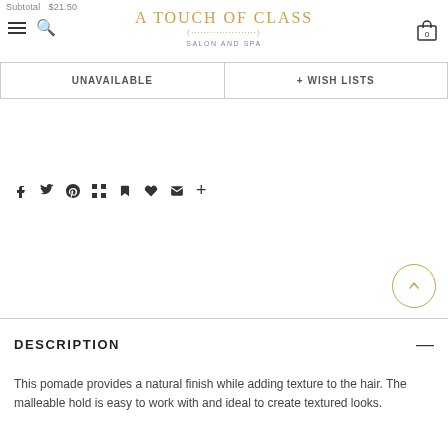Subtotal $21.50 | A TOUCH OF CLASS SALON AND SPA
UNAVAILABLE
+ WISH LISTS
[Figure (other): Social sharing icons: Facebook, Twitter, Pinterest, Grid, Bookmark, Heart, Email, Plus]
[Figure (other): Scroll-to-top button: circle with upward chevron]
DESCRIPTION
This pomade provides a natural finish while adding texture to the hair. The malleable hold is easy to work with and ideal to create textured looks.